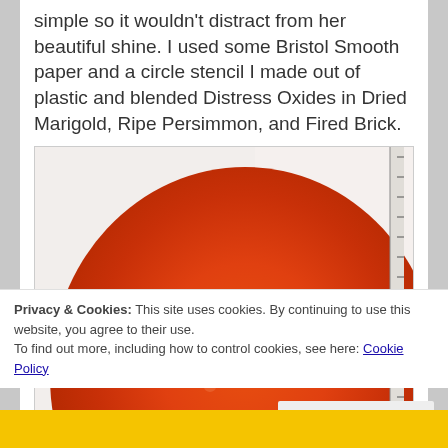simple so it wouldn't distract from her beautiful shine. I used some Bristol Smooth paper and a circle stencil I made out of plastic and blended Distress Oxides in Dried Marigold, Ripe Persimmon, and Fired Brick.
[Figure (photo): Close-up photo of a large orange-red blended circle on white Bristol Smooth paper, created using Distress Oxides. A metal ruler is visible on the right edge.]
Privacy & Cookies: This site uses cookies. By continuing to use this website, you agree to their use.
To find out more, including how to control cookies, see here: Cookie Policy
Close and accept